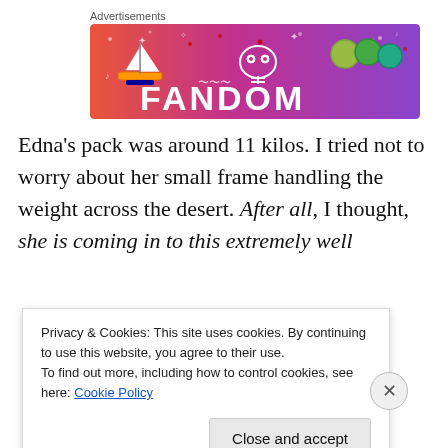Advertisements
[Figure (illustration): Fandom advertisement banner with gradient background (orange to purple), featuring cartoon sailboat, skull, dice icons, and 'FANDOM' text at bottom]
Edna's pack was around 11 kilos. I tried not to worry about her small frame handling the weight across the desert. After all, I thought, she is coming in to this extremely well
Privacy & Cookies: This site uses cookies. By continuing to use this website, you agree to their use.
To find out more, including how to control cookies, see here: Cookie Policy
Close and accept